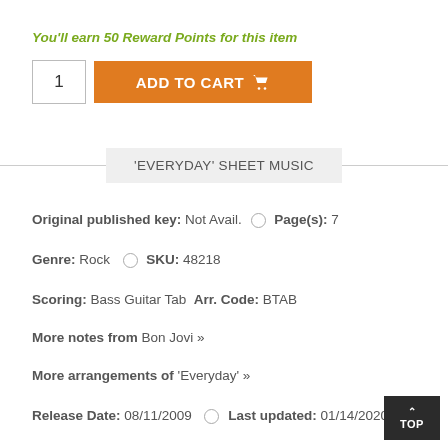You'll earn 50 Reward Points for this item
[Figure (other): Quantity input box showing '1' and orange 'ADD TO CART' button with cart icon]
'EVERYDAY' SHEET MUSIC
Original published key: Not Avail.  Page(s): 7
Genre: Rock  SKU: 48218
Scoring: Bass Guitar Tab  Arr. Code: BTAB
More notes from Bon Jovi »
More arrangements of 'Everyday' »
Release Date: 08/11/2009  Last updated: 01/14/2020